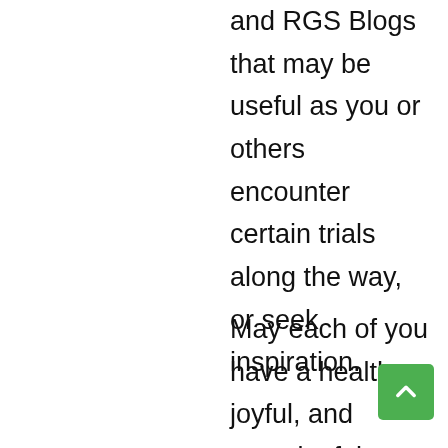and RGS Blogs that may be useful as you or others encounter certain trials along the way, or seek inspiration.
May each of you have a healthy, joyful, and meaningful summer as you manifest salt, light, and mutual understanding on the paths where God takes you. To Him Be the Glory due His Name!
Respectfully in Christ,
Bob